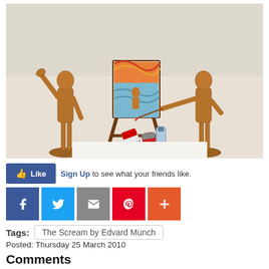[Figure (photo): Two wooden artist mannequins flanking a miniature easel holding a reproduction of Edvard Munch's The Scream, with paint tubes (Golden brand) in front, on a white surface.]
👍 Like   Sign Up to see what your friends like.
[Figure (infographic): Social sharing buttons: Facebook (blue), Twitter (blue bird), Email (grey envelope), Pinterest (red P), More (orange plus)]
Tags:   The Scream by Edvard Munch
Posted: Thursday 25 March 2010
Comments